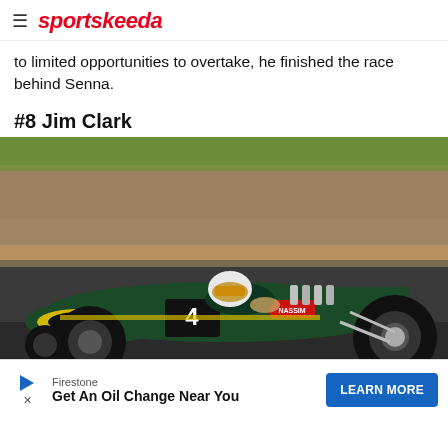sportskeeda
to limited opportunities to overtake, he finished the race behind Senna.
#8 Jim Clark
[Figure (photo): Jim Clark driving a green and yellow Lotus Formula 1 car numbered 4 on a racing circuit, with a rocky embankment in the background. The car has a distinctive wedge-shaped nose with a yellow oval opening.]
Firestone | Get An Oil Change Near You | LEARN MORE